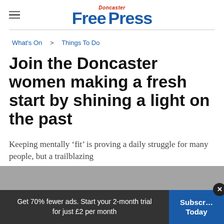Doncaster Free Press
What's On  >  Things To Do
Join the Doncaster women making a fresh start by shining a light on the past
Keeping mentally ‘fit’ is proving a daily struggle for many people, but a trailblazing
Get 70% fewer ads. Start your 2-month trial for just £2 per month
Subscribe Today